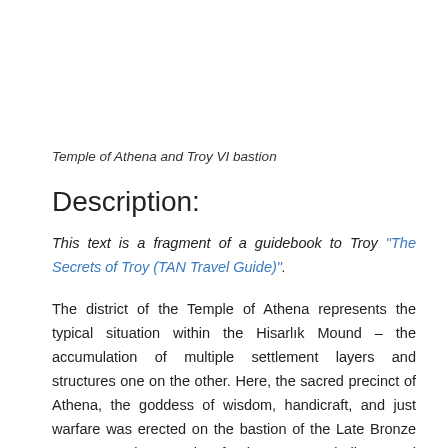Temple of Athena and Troy VI bastion
Description:
This text is a fragment of a guidebook to Troy "The Secrets of Troy (TAN Travel Guide)".
The district of the Temple of Athena represents the typical situation within the Hisarlık Mound – the accumulation of multiple settlement layers and structures one on the other. Here, the sacred precinct of Athena, the goddess of wisdom, handicraft, and just warfare was erected on the bastion of the Late Bronze Age Troy. The Temple of Athena was rebuilt several times and was finally demolished, becoming the source